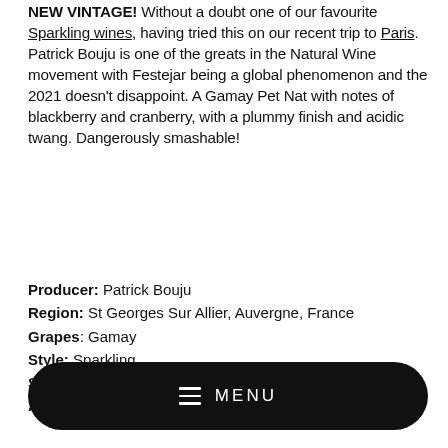NEW VINTAGE! Without a doubt one of our favourite Sparkling wines, having tried this on our recent trip to Paris. Patrick Bouju is one of the greats in the Natural Wine movement with Festejar being a global phenomenon and the 2021 doesn't disappoint. A Gamay Pet Nat with notes of blackberry and cranberry, with a plummy finish and acidic twang. Dangerously smashable!
Producer: Patrick Bouju
Region: St Georges Sur Allier, Auvergne, France
Grapes: Gamay
Style: Sparkling
Size: 75cl
ABV: 10%
[Figure (other): Black rounded rectangle button with hamburger menu icon and MENU text in white]